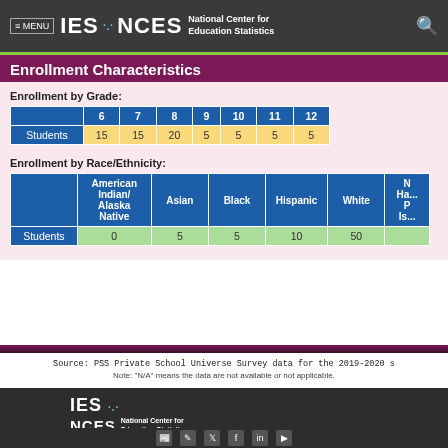≡ MENU  IES NCES National Center for Education Statistics
Enrollment Characteristics
Enrollment by Grade:
|  | 6 | 7 | 8 | 9 | 10 | 11 | 12 |
| --- | --- | --- | --- | --- | --- | --- | --- |
| Students | 15 | 15 | 20 | 5 | 5 | 5 | 5 |
Enrollment by Race/Ethnicity:
|  | American Indian/ Alaska Native | Asian | Black | Hispanic | White | N Ha... P Is... |
| --- | --- | --- | --- | --- | --- | --- |
| Students | 0 | 5 | 5 | 10 | 50 |  |
Source: PSS Private School Universe Survey data for the 2019-2020 s
Note: "N/A" means the data are not available or not applicable.
IES NCES National Center for Education Statistics